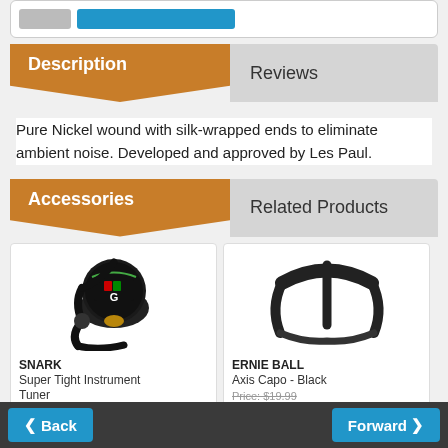Description
Reviews
Pure Nickel wound with silk-wrapped ends to eliminate ambient noise. Developed and approved by Les Paul.
Accessories
Related Products
[Figure (photo): SNARK Super Tight Instrument Tuner clip-on tuner device]
SNARK
Super Tight Instrument Tuner
[Figure (photo): ERNIE BALL Axis Capo - Black guitar capo device]
ERNIE BALL
Axis Capo - Black
Price: $19.99
Back    Forward